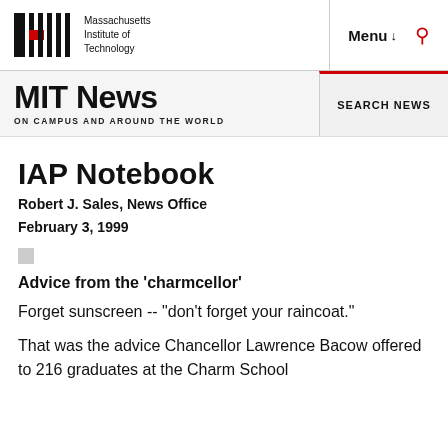Massachusetts Institute of Technology | Menu | Search
MIT News ON CAMPUS AND AROUND THE WORLD
SEARCH NEWS
IAP Notebook
Robert J. Sales, News Office
February 3, 1999
Advice from the 'charmcellor'
Forget sunscreen -- "don't forget your raincoat."
That was the advice Chancellor Lawrence Bacow offered to 216 graduates at the Charm School